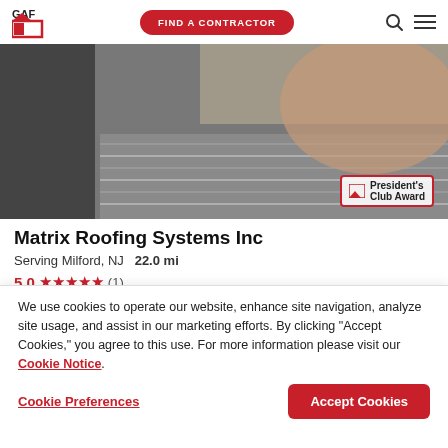GAF | FIND A CONTRACTOR
[Figure (photo): Contractor profile photo of a man in a striped polo shirt, with a President's Club Award badge in the lower right corner]
Matrix Roofing Systems Inc
Serving Milford, NJ  22.0 mi
5.0 ★★★★★ (1)
MESSAGE US | (267) 327-4680 | VIEW PROFILE
We use cookies to operate our website, enhance site navigation, analyze site usage, and assist in our marketing efforts. By clicking "Accept Cookies," you agree to this use. For more information please visit our Cookie Notice.
Cookie Preferences | Accept Cookies